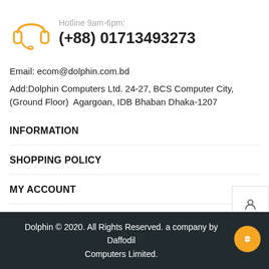[Figure (illustration): Orange headphone/headset customer support icon]
Hotline 9am-6pm:
(+88) 01713493273
Email: ecom@dolphin.com.bd
Add:Dolphin Computers Ltd. 24-27, BCS Computer City, (Ground Floor) Agargoan, IDB Bhaban Dhaka-1207
INFORMATION
SHOPPING POLICY
MY ACCOUNT
FOLLOW US ON
Dolphin © 2020. All Rights Reserved. a company by Daffodil Computers Limited.